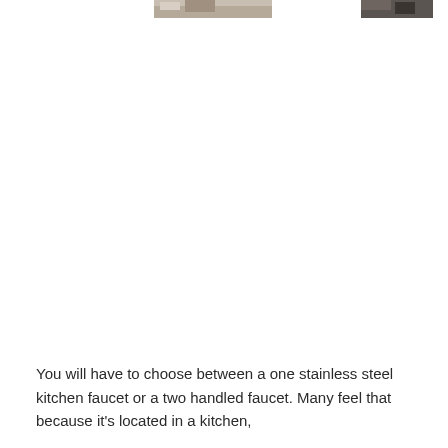[Figure (photo): Partial view of two photos visible at the top of the page — a kitchen faucet photo on the left-center and another photo on the right, both cropped at the top edge.]
You will have to choose between a one stainless steel kitchen faucet or a two handled faucet. Many feel that because it's located in a kitchen,